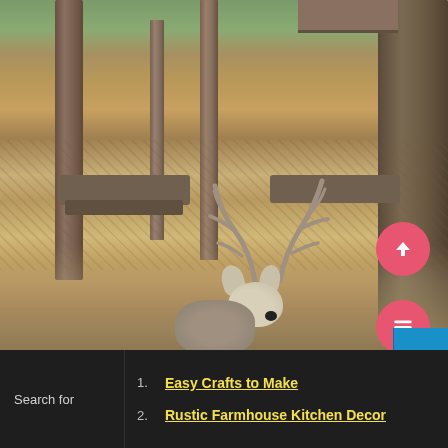[Figure (photo): Outdoor wooded scene with trees, wooden benches, gravel ground covered in fallen leaves, and a handmade wooden deer craft figure with stick antlers in the foreground.]
Search for
1. Easy Crafts to Make
2. Rustic Farmhouse Kitchen Decor